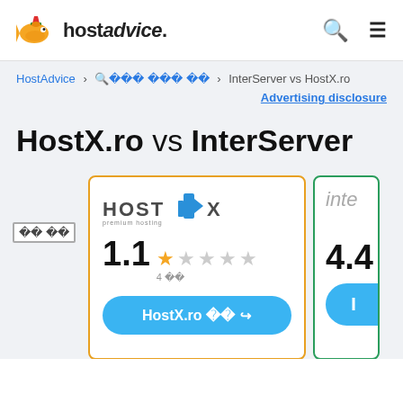hostadvice. [search icon] [menu icon]
HostAdvice > 호스팅 비교 목록 > InterServer vs HostX.ro
Advertising disclosure
HostX.ro vs InterServer
[Figure (screenshot): HostX.ro comparison card with logo, rating 1.1 out of 5 (4 reviews, 1 filled star + 4 empty stars), and a blue button labeled 'HostX.ro 보기']
[Figure (screenshot): InterServer comparison card (partially visible), showing 'inter' text, rating 4.4, partial gold star, and blue button with 'I']